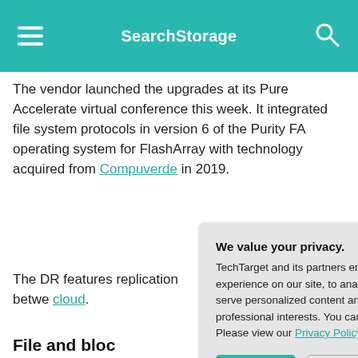SearchStorage
The vendor launched the upgrades at its Pure Accelerate virtual conference this week. It integrated file system protocols in version 6 of the Purity FA operating system for FlashArray with technology acquired from Compuverde in 2019.
The DR features... replication betwe... cloud.
File and bloc...
Pure Storage Fla... NAS platform ru... released Purity 3...
File storage relie... hierarchical stru...
We value your privacy.
TechTarget and its partners employ cookies to improve your experience on our site, to analyze traffic and performance, and to serve personalized content and advertising that are relevant to your professional interests. You can manage your settings at any time. Please view our Privacy Policy for more information